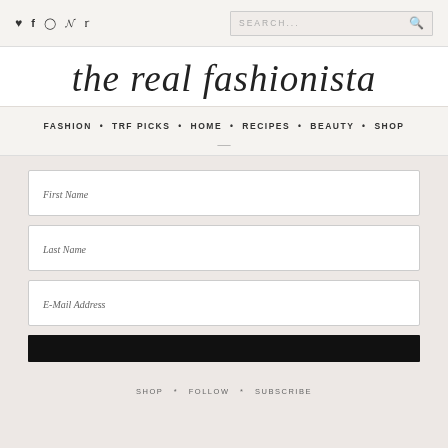Social icons: heart, f, instagram, pinterest, twitter | SEARCH...
the real fashionista
FASHION • TRF PICKS • HOME • RECIPES • BEAUTY • SHOP
First Name
Last Name
E-Mail Address
SHOP * FOLLOW * SUBSCRIBE